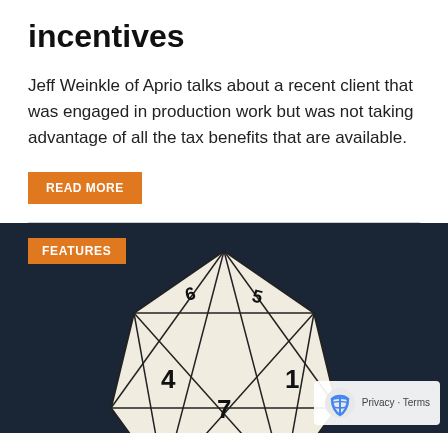incentives
Jeff Weinkle of Aprio talks about a recent client that was engaged in production work but was not taking advantage of all the tax benefits that are available.
READ MORE
[Figure (photo): A 20-sided polyhedral dice (d20) photographed against a dark background, showing numbers 4, 7, 1, 5, 6 and other faces visible, with a FEATURES badge overlay in orange]
Privacy · Terms